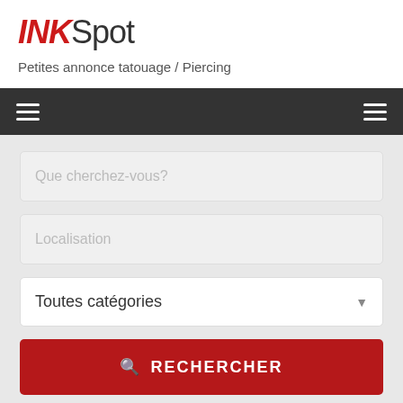[Figure (logo): INKSpot logo with INK in bold red italic and Spot in gray light font]
Petites annonce tatouage / Piercing
[Figure (other): Dark navigation bar with hamburger menu icons on left and right]
Que cherchez-vous?
Localisation
Toutes catégories
RECHERCHER